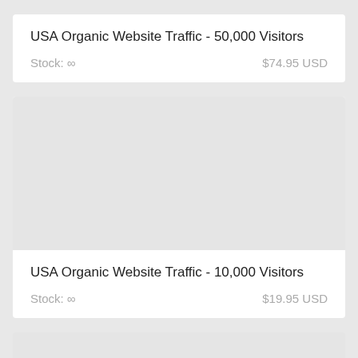USA Organic Website Traffic - 50,000 Visitors
Stock: ∞    $74.95 USD
[Figure (other): Product image placeholder for USA Organic Website Traffic - 10,000 Visitors]
USA Organic Website Traffic - 10,000 Visitors
Stock: ∞    $19.95 USD
[Figure (other): Partial product image placeholder for third listing]